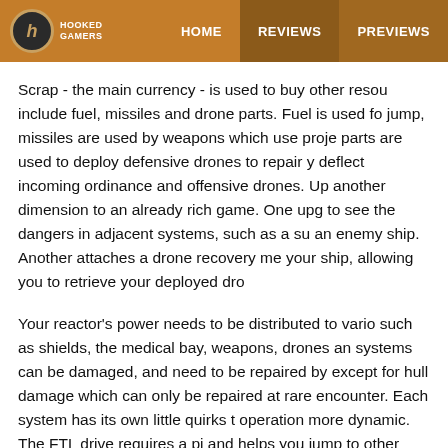HOOKED GAMERS | HOME | REVIEWS | PREVIEWS
Scrap - the main currency - is used to buy other resources which include fuel, missiles and drone parts. Fuel is used for each jump, missiles are used by weapons which use projectiles, drone parts are used to deploy defensive drones to repair your ship, deflect incoming ordinance and offensive drones. Upgrades add another dimension to an already rich game. One upgrade allows to see the dangers in adjacent systems, such as a sun flare or an enemy ship. Another attaches a drone recovery mechanism your ship, allowing you to retrieve your deployed drones.
Your reactor's power needs to be distributed to various systems such as shields, the medical bay, weapons, drones and more. All systems can be damaged, and need to be repaired by your crew, except for hull damage which can only be repaired at a store or rare encounter. Each system has its own little quirks that make operation more dynamic. The FTL drive requires a power input and helps you jump to other locations, but it needs time to charge.